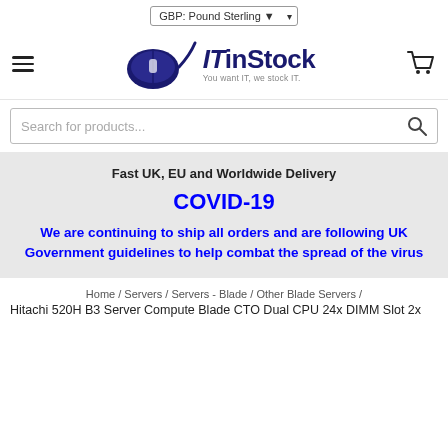GBP: Pound Sterling
[Figure (logo): ITinStock logo with computer mouse graphic and tagline 'You want IT, we stock IT.']
Search for products...
Fast UK, EU and Worldwide Delivery
COVID-19
We are continuing to ship all orders and are following UK Government guidelines to help combat the spread of the virus
Home / Servers / Servers - Blade / Other Blade Servers /
Hitachi 520H B3 Server Compute Blade CTO Dual CPU 24x DIMM Slot 2x